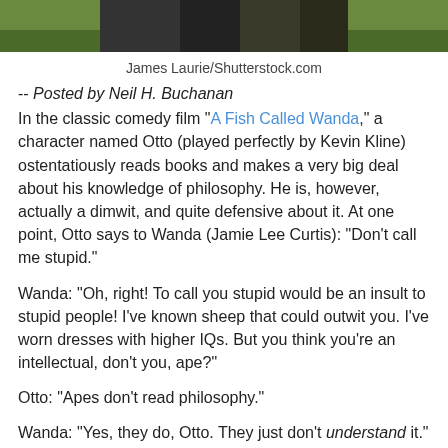[Figure (photo): Top portion of a photo showing dark animal fur against green grass background]
James Laurie/Shutterstock.com
-- Posted by Neil H. Buchanan
In the classic comedy film "A Fish Called Wanda," a character named Otto (played perfectly by Kevin Kline) ostentatiously reads books and makes a very big deal about his knowledge of philosophy. He is, however, actually a dimwit, and quite defensive about it. At one point, Otto says to Wanda (Jamie Lee Curtis): "Don't call me stupid."
Wanda: "Oh, right! To call you stupid would be an insult to stupid people! I've known sheep that could outwit you. I've worn dresses with higher IQs. But you think you're an intellectual, don't you, ape?"
Otto: "Apes don't read philosophy."
Wanda: "Yes, they do, Otto. They just don't understand it."
Paul Ryan is no ape. He seems to understand (at least at a